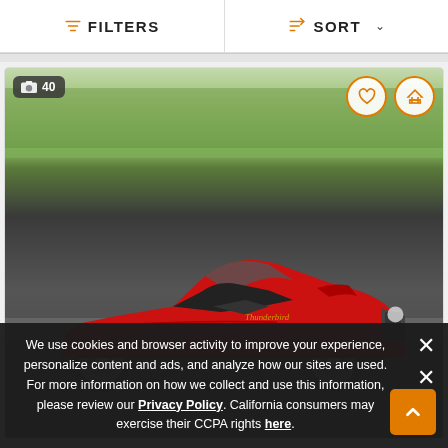FILTERS   SORT
[Figure (photo): Red Ford Thunderbird convertible with top down, parked on a paved surface with trees in background. Photo count badge shows 40 photos. Heart and compare action buttons visible top-right.]
We use cookies and browser activity to improve your experience, personalize content and ads, and analyze how our sites are used. For more information on how we collect and use this information, please review our Privacy Policy. California consumers may exercise their CCPA rights here.